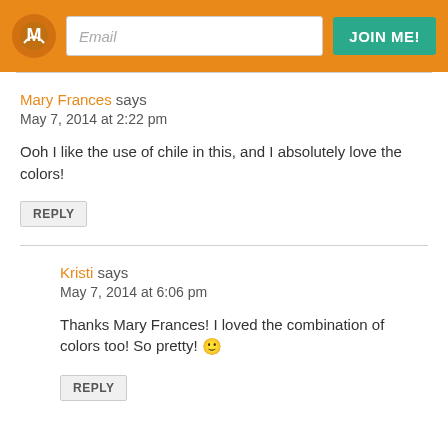Email | JOIN ME!
Mary Frances says
May 7, 2014 at 2:22 pm
Ooh I like the use of chile in this, and I absolutely love the colors!
REPLY
Kristi says
May 7, 2014 at 6:06 pm
Thanks Mary Frances! I loved the combination of colors too! So pretty! 🙂
REPLY